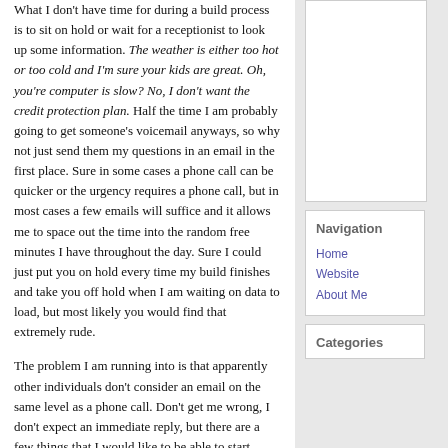What I don't have time for during a build process is to sit on hold or wait for a receptionist to look up some information. The weather is either too hot or too cold and I'm sure your kids are great. Oh, you're computer is slow? No, I don't want the credit protection plan. Half the time I am probably going to get someone's voicemail anyways, so why not just send them my questions in an email in the first place. Sure in some cases a phone call can be quicker or the urgency requires a phone call, but in most cases a few emails will suffice and it allows me to space out the time into the random free minutes I have throughout the day. Sure I could just put you on hold every time my build finishes and take you off hold when I am waiting on data to load, but most likely you would find that extremely rude.
The problem I am running into is that apparently other individuals don't consider an email on the same level as a phone call. Don't get me wrong, I don't expect an immediate reply, but there are a few things that I would like to be able to start expecting.
If you're out of the office for more than a day, I would like to receive an out of office reply.
If I send you
Navigation
Home
Website
About Me
Categories